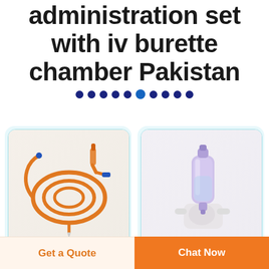administration set with iv burette chamber Pakistan
[Figure (illustration): Orange IV administration set tubing coiled on white background]
[Figure (illustration): Purple/clear IV burette chamber connector mounted on white plastic clip/holder]
Get a Quote
Chat Now